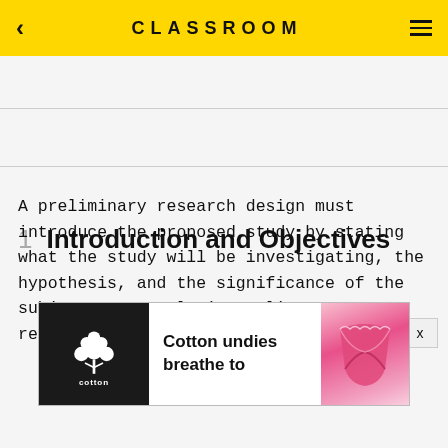CLASSROOM
1  Introduction and Objectives
A preliminary research design must introduce the proposed study by stating what the study will be investigating, the hypothesis, and the significance of the subject. By completing a literature review,
[Figure (other): Advertisement banner: Cotton logo (white cotton plant on black background) with text 'Cotton undies breathe to' and pink underwear image on the right]